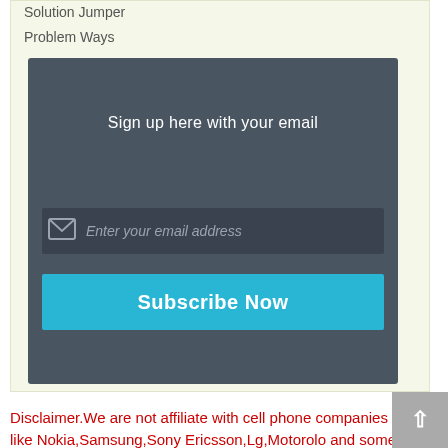Solution Jumper
Problem Ways
[Figure (screenshot): Email subscription widget with dark gray background, email input field with envelope icon and placeholder 'Enter your email address', and a cyan 'Subscribe Now' button. Title text reads 'Sign up here with your email'.]
Disclaimer.We are not affiliate with cell phone companies like Nokia,Samsung,Sony Ericsson,Lg,Motorolo and some other etc Manufacturers / Vendors .All trademarks are the property of the respective trademark owners.we just